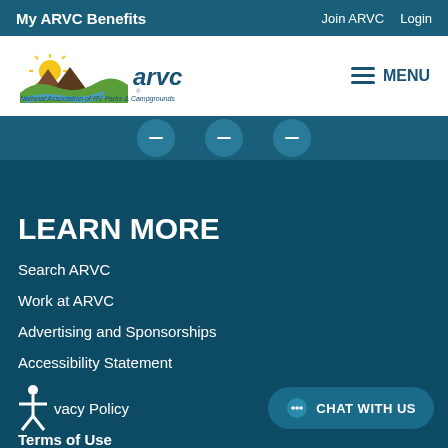My ARVC Benefits | Join ARVC | Login
[Figure (logo): ARVC logo with sun, mountains, and river. Text: arvc. National Association of RV Parks & Campgrounds]
≡ MENU
[Figure (other): Three circular social media icon buttons]
LEARN MORE
Search ARVC
Work at ARVC
Advertising and Sponsorships
Accessibility Statement
Privacy Policy
Terms of Use
CHAT WITH US